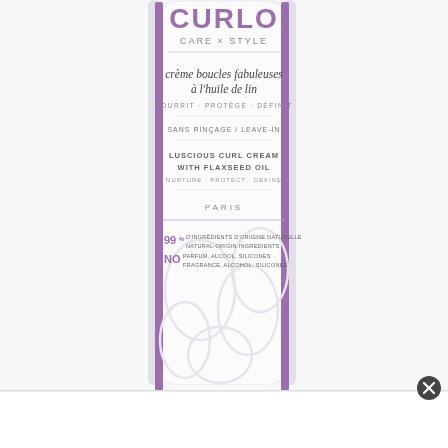[Figure (photo): A white cosmetic tube product - Curlo Care x Style Luscious Curl Cream with Flaxseed Oil. The tube shows text in French and English: crème boucles fabuleuses à l'huile de lin, NOURRIT - PROTÈGE - DÉFINIT, SANS RINÇAGE / LEAVE-IN, LUSCIOUS CURL CREAM WITH FLAXSEED OIL, NURTURE - PROTECT - DEFINE, PARIS. At the bottom of the tube: 99% D'INGRÉDIENTS D'ORIGINE NATURELLE / NATURAL-ORIGIN INGREDIENTS, NO PARFUM, ALCOOL, SILICONES / FRAGRANCE, ALCOHOL, SILICONES. The tube has purple/lavender accent stripes and decorative curl patterns embossed on the lower half.]
[Figure (other): A white popup/dialog bar at the bottom of the page with a close (X) button in a dark circular icon at the top right corner.]